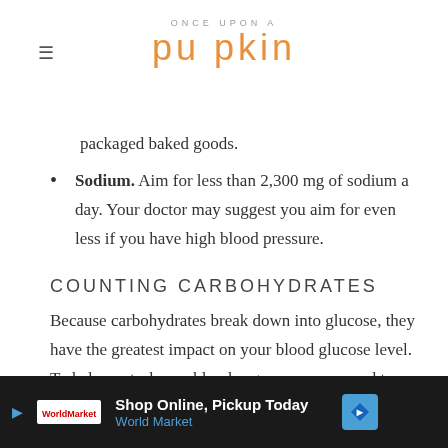ONCE UPON A pumpkin
packaged baked goods.
Sodium. Aim for less than 2,300 mg of sodium a day. Your doctor may suggest you aim for even less if you have high blood pressure.
COUNTING CARBOHYDRATES
Because carbohydrates break down into glucose, they have the greatest impact on your blood glucose level. To help control your blood sugar, you may need to learn to
Shop Online, Pickup Today World Market